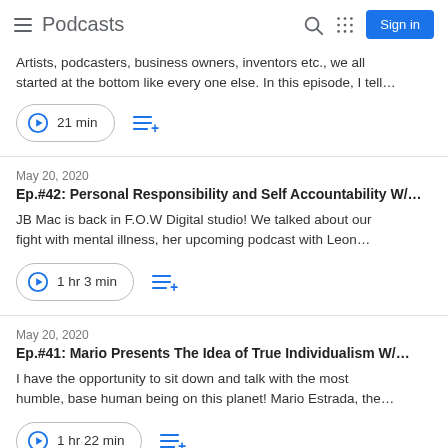Podcasts
Artists, podcasters, business owners, inventors etc., we all started at the bottom like every one else. In this episode, I tell…
▶ 21 min
May 20, 2020
Ep.#42: Personal Responsibility and Self Accountability W/…
JB Mac is back in F.O.W Digital studio! We talked about our fight with mental illness, her upcoming podcast with Leon…
▶ 1 hr 3 min
May 20, 2020
Ep.#41: Mario Presents The Idea of True Individualism W/…
I have the opportunity to sit down and talk with the most humble, base human being on this planet! Mario Estrada, the…
▶ 1 hr 22 min